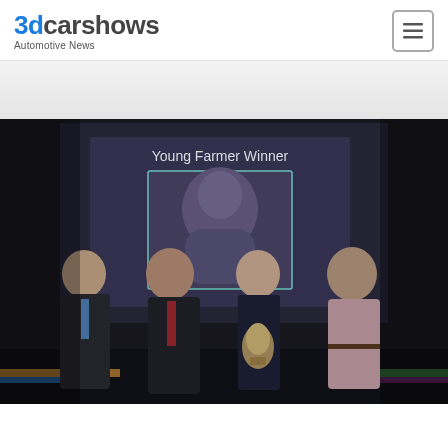3dcarshows Automotive News
[Figure (photo): Award ceremony photo showing four men on stage. A projection screen behind them reads 'Young Farmer Winner' with a face projected on it. The man in the center is holding a crystal trophy. Three men are in dark suits and one is in a light pink shirt.]